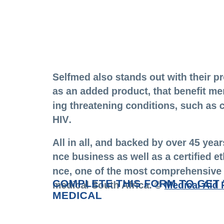Selfmed also stands out with their provision for Gap Cover as an added product, that benefit members suffering life-threatening conditions, such as cancer and HIV.

All in all, and backed by over 45 years of experience in the business as well as a certified ethics compliance, Selfmed is one of the most comprehensive and best medical aids in South Africa. © Medical Aid Plan
COMPLETE THIS FORM TO GET YOUR MEDICAL AID QUOTES